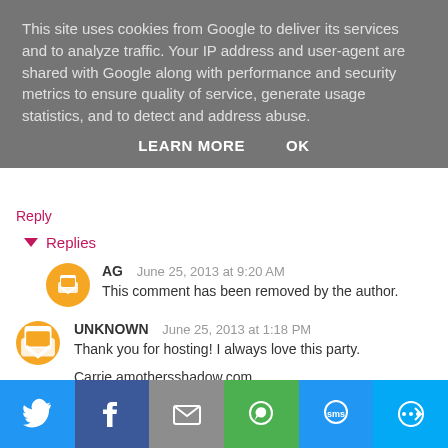This site uses cookies from Google to deliver its services and to analyze traffic. Your IP address and user-agent are shared with Google along with performance and security metrics to ensure quality of service, generate usage statistics, and to detect and address abuse.
LEARN MORE   OK
Reply
▾ Replies
AG   June 25, 2013 at 9:20 AM
This comment has been removed by the author.
UNKNOWN  June 25, 2013 at 1:18 PM
Thank you for hosting! I always love this party.

Carrie amothersshadow.com
[Figure (other): Social sharing bar with Twitter, Facebook, Email, WhatsApp, SMS, and more share buttons]